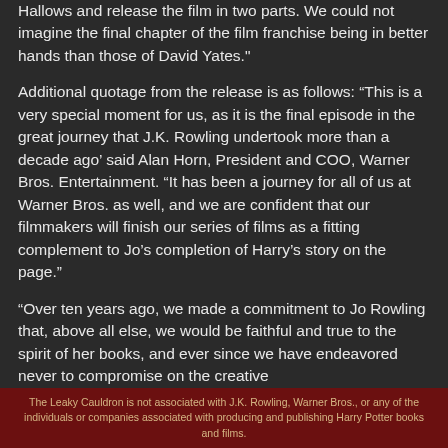Hallows and release the film in two parts. We could not imagine the final chapter of the film franchise being in better hands than those of David Yates."
Additional quotage from the release is as follows: “This is a very special moment for us, as it is the final episode in the great journey that J.K. Rowling undertook more than a decade ago’ said Alan Horn, President and COO, Warner Bros. Entertainment. “It has been a journey for all of us at Warner Bros. as well, and we are confident that our filmmakers will finish our series of films as a fitting complement to Jo’s completion of Harry’s story on the page.”
“Over ten years ago, we made a commitment to Jo Rowling that, above all else, we would be faithful and true to the spirit of her books, and ever since we have endeavored never to compromise on the creative
The Leaky Cauldron is not associated with J.K. Rowling, Warner Bros., or any of the individuals or companies associated with producing and publishing Harry Potter books and films.